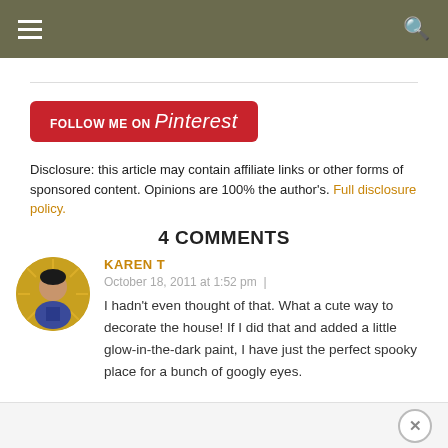Navigation bar with hamburger menu and search icon
[Figure (illustration): Follow Me on Pinterest button — red rounded rectangle with white text]
Disclosure: this article may contain affiliate links or other forms of sponsored content. Opinions are 100% the author's. Full disclosure policy.
4 COMMENTS
KAREN T
October 18, 2011 at 1:52 pm |
I hadn't even thought of that. What a cute way to decorate the house! If I did that and added a little glow-in-the-dark paint, I have just the perfect spooky place for a bunch of googly eyes.
Close button (×)